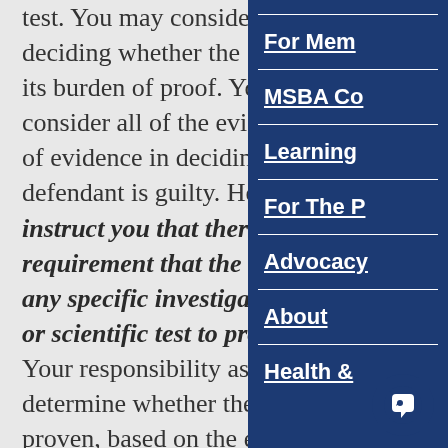test. You may consider these deciding whether the State h its burden of proof. You shou consider all of the evidence of evidence in deciding whe defendant is guilty. However, instruct you that there is no l requirement that the State us any specific investigative tec or scientific test to prove its c Your responsibility as jurors determine whether the State proven, based on the eviden defendants' guilt beyond a reasonable doubt.
[Figure (other): Dark blue sidebar navigation panel with menu links: For Mem, MSBA Co, Learning, For The P, Advocacy, About, Health &]